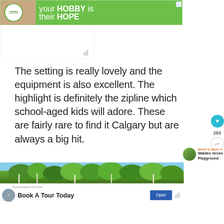[Figure (other): Advertisement banner with green background. Cookies for Kids Cancer logo on left with photo of hands holding a heart. Text reads 'your HOBBY is their HOPE' in white on green.]
The setting is really lovely and the equipment is also excellent. The highlight is definitely the zipline which school-aged kids will adore. These are fairly rare to find it Calgary but are always a big hit.
[Figure (photo): Photo of trees with green foliage against a blue sky, viewed from below.]
[Figure (other): Advertisement for Royal Ashburn Golf Club: 'Book A Tour Today' with an Open button.]